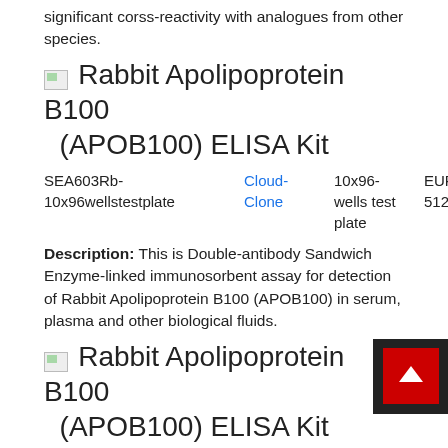significant corss-reactivity with analogues from other species.
Rabbit Apolipoprotein B100 (APOB100) ELISA Kit
| ID | Brand | Size | Price |
| --- | --- | --- | --- |
| SEA603Rb-10x96wellstestplate | Cloud-Clone | 10x96-wells test plate | EUR 5124.2 |
Description: This is Double-antibody Sandwich Enzyme-linked immunosorbent assay for detection of Rabbit Apolipoprotein B100 (APOB100) in serum, plasma and other biological fluids.
Rabbit Apolipoprotein B100 (APOB100) ELISA Kit
| ID | Brand | Size | Price |
| --- | --- | --- | --- |
| SEA603Rb- | Cloud- | 1x48-wells test | EUR |